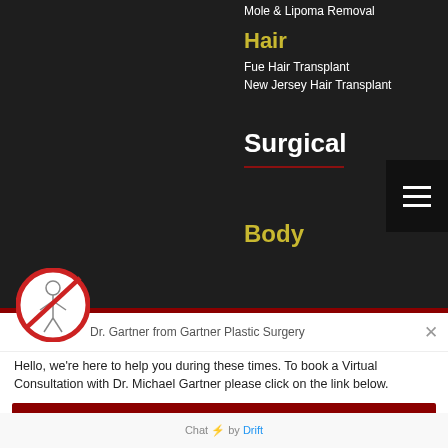Mole & Lipoma Removal
Hair
Fue Hair Transplant
New Jersey Hair Transplant
Surgical
Body
[Figure (logo): Gartner Plastic Surgery circular logo with figure outline and red prohibition circle]
Dr. Gartner from Gartner Plastic Surgery
Hello, we're here to help you during these times. To book a Virtual Consultation with Dr. Michael Gartner please click on the link below.
Virtual Consultation
Chat ⚡ by Drift